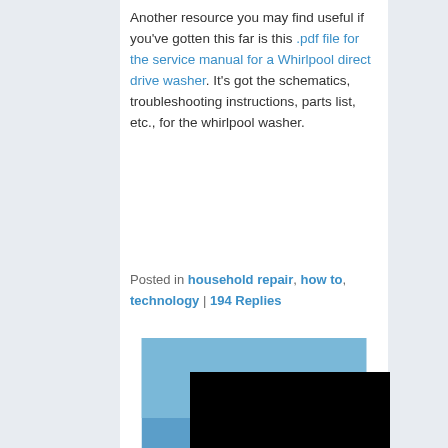Another resource you may find useful if you've gotten this far is this .pdf file for the service manual for a Whirlpool direct drive washer. It's got the schematics, troubleshooting instructions, parts list, etc., for the whirlpool washer.
Posted in household repair, how to, technology | 194 Replies
[Figure (photo): Photo of a person sitting in the cockpit of a small white glider or light aircraft on a sunny day, canopy open, seen from the wing.]
[Figure (photo): Black image/video thumbnail, partially visible at the bottom of the page.]